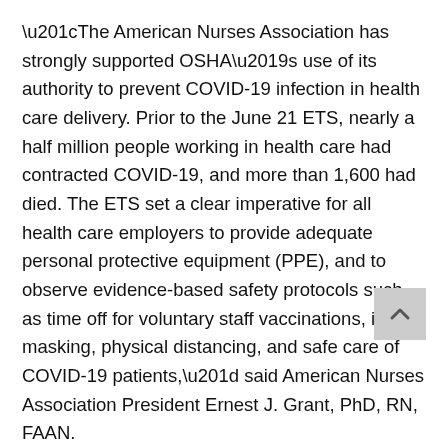“The American Nurses Association has strongly supported OSHA’s use of its authority to prevent COVID-19 infection in health care delivery. Prior to the June 21 ETS, nearly a half million people working in health care had contracted COVID-19, and more than 1,600 had died. The ETS set a clear imperative for all health care employers to provide adequate personal protective equipment (PPE), and to observe evidence-based safety protocols such as time off for voluntary staff vaccinations, indoor masking, physical distancing, and safe care of COVID-19 patients,” said American Nurses Association President Ernest J. Grant, PhD, RN, FAAN.
“It would be baffling and concerning if OSHA allowed this ETS to lapse as cases and hospitalizations rise and the omicron variant begins to sweep across the